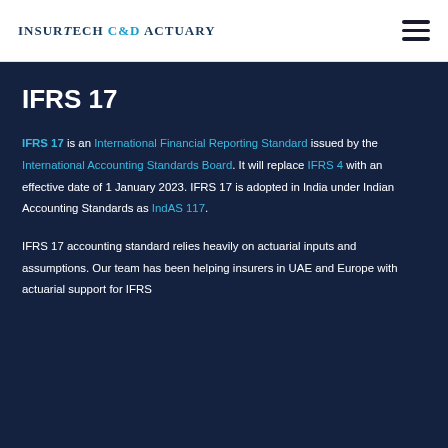InsurTech C&D Actuary
IFRS 17
IFRS 17 is an International Financial Reporting Standard issued by the International Accounting Standards Board. It will replace IFRS 4 with an effective date of 1 January 2023. IFRS 17 is adopted in India under Indian Accounting Standards as IndAS 117.
IFRS 17 accounting standard relies heavily on actuarial inputs and assumptions. Our team has been helping insurers in UAE and Europe with actuarial support for IFRS